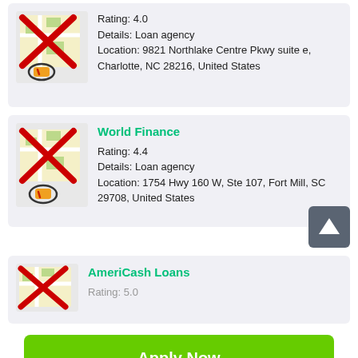[Figure (screenshot): Map icon with red X overlay for first listing]
Rating: 4.0
Details: Loan agency
Location: 9821 Northlake Centre Pkwy suite e, Charlotte, NC 28216, United States
[Figure (screenshot): Map icon with red X overlay for World Finance listing]
World Finance
Rating: 4.4
Details: Loan agency
Location: 1754 Hwy 160 W, Ste 107, Fort Mill, SC 29708, United States
[Figure (screenshot): Map icon with red X overlay for AmeriCash Loans listing]
AmeriCash Loans
Rating: 5.0
Apply Now
Applying does NOT affect your credit score!
No credit check to apply.